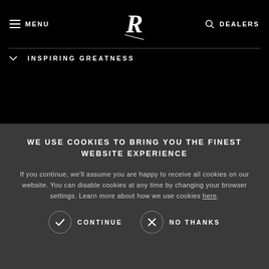MENU | [Rolls-Royce Logo] | DEALERS
INSPIRING GREATNESS
WE USE COOKIES TO BRING YOU THE FINEST WEBSITE EXPERIENCE
If you continue, we'll assume you are happy to receive all cookies on our website. You can disable cookies at any time by changing your browser settings. Learn more about how we use cookies here.
CONTINUE
NO THANKS